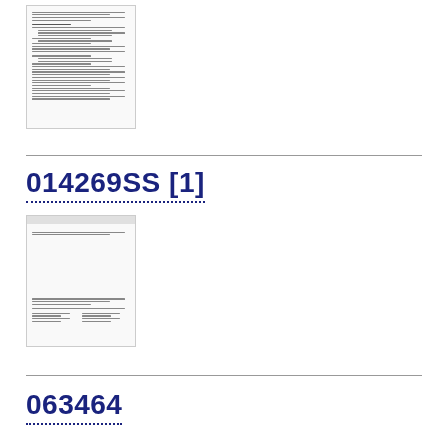[Figure (screenshot): Thumbnail of a legal document with text lines and numbered list items]
014269SS [1]
[Figure (screenshot): Thumbnail of a legal form/document with header and table-like content at bottom]
063464